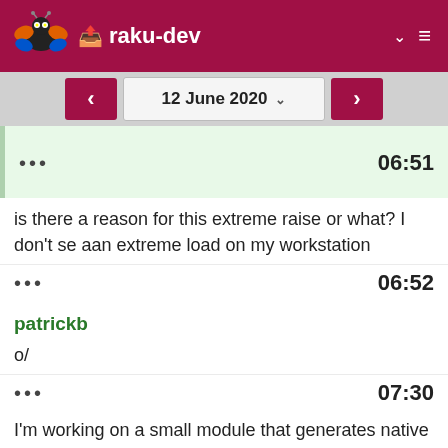raku-dev
12 June 2020
••• 06:51
is there a reason for this extreme raise or what? I don't se aan extreme load on my workstation
••• 06:52
patrickb
o/
••• 07:30
I'm working on a small module that generates native exec runner programs. Idea: Have a precompiled program that retrieves some arguments attached to its executable